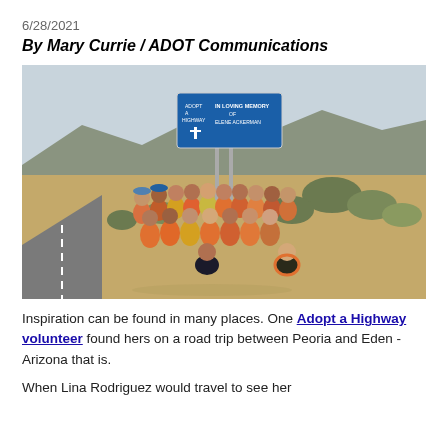6/28/2021
By Mary Currie / ADOT Communications
[Figure (photo): Group of women wearing orange and yellow safety vests posing in front of an Adopt a Highway sign reading 'In Loving Memory of Elene Ackerman', with desert scrubland and mountains in the background.]
Inspiration can be found in many places. One Adopt a Highway volunteer found hers on a road trip between Peoria and Eden - Arizona that is.
When Lina Rodriguez would travel to see her